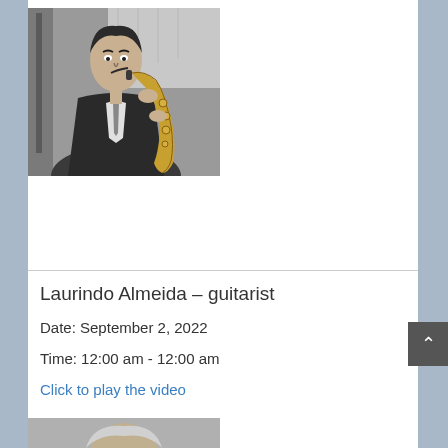[Figure (photo): Black and white photo of a man in a suit playing a saxophone, with a bass instrument visible in the background]
Laurindo Almeida – guitarist
Date: September 2, 2022
Time: 12:00 am - 12:00 am
Click to play the video
[Figure (photo): Black and white photo of a person, partially visible at bottom of page]